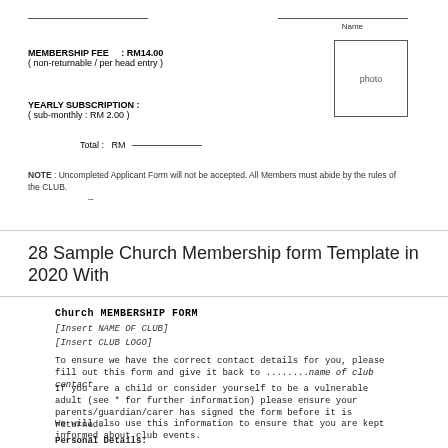MEMBERSHIP FEE : RM14.00
( non-returnable / per head entry )
[Figure (other): Photo placeholder box with text 'photo']
YEARLY SUBSCRIPTION :
( sub-monthly : RM 2.00 )
Total : RM ___
NOTE : Uncompleted Applicant Form will not be accepted. All Members must abide by the rules of the CLUB.
28 Sample Church Membership form Template in 2020 With
Church MEMBERSHIP FORM
[Insert NAME OF CLUB]
[Insert CLUB LOGO]
To ensure we have the correct contact details for you, please fill out this form and give it back to ........name of club contact
If you are a child or consider yourself to be a vulnerable adult (see * for further information) please ensure your parents/guardian/carer has signed the form before it is returned.
We will also use this information to ensure that you are kept informed about club events.
Personal Details: